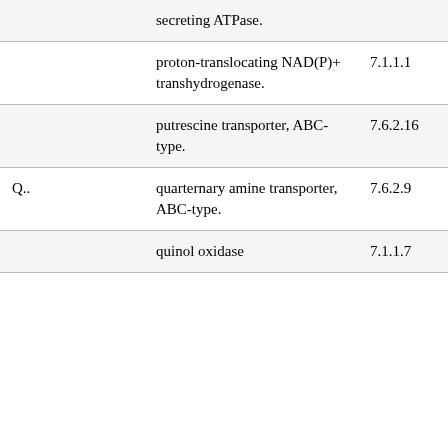|  | secreting ATPase. |  |
|  | proton-translocating NAD(P)+ transhydrogenase. | 7.1.1.1 |
|  | putrescine transporter, ABC-type. | 7.6.2.16 |
| Q.. | quarternary amine transporter, ABC-type. | 7.6.2.9 |
|  | quinol oxidase | 7.1.1.7 |